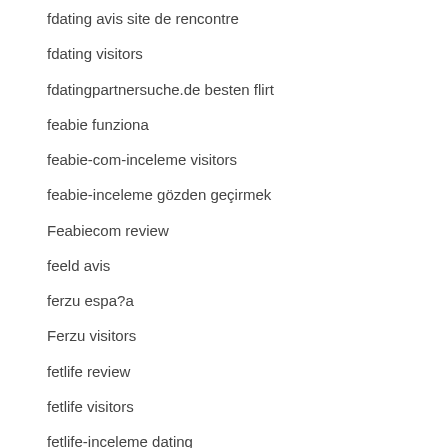fdating avis site de rencontre
fdating visitors
fdatingpartnersuche.de besten flirt
feabie funziona
feabie-com-inceleme visitors
feabie-inceleme gözden geçirmek
Feabiecom review
feeld avis
ferzu espa?a
Ferzu visitors
fetlife review
fetlife visitors
fetlife-inceleme dating
filipino cupid come funziona
Filipino Dating site